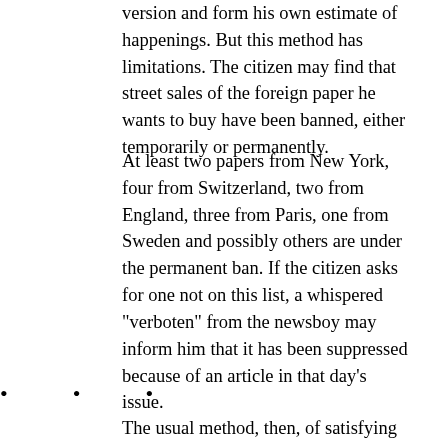version and form his own estimate of happenings. But this method has limitations. The citizen may find that street sales of the foreign paper he wants to buy have been banned, either temporarily or permanently.
At least two papers from New York, four from Switzerland, two from England, three from Paris, one from Sweden and possibly others are under the permanent ban. If the citizen asks for one not on this list, a whispered "verboten" from the newsboy may inform him that it has been suppressed because of an article in that day's issue.
• • •
The usual method, then, of satisfying one's curiosity is to talk with neighbors or, in a more cautious way, with strangers in a restaurant or street car. "What have you heard?" has become a substitute for the "I saw in the paper" of most other countries. The amount of news that circulates by word of mouth is amazing and, as might be supposed, so well embroidered in the